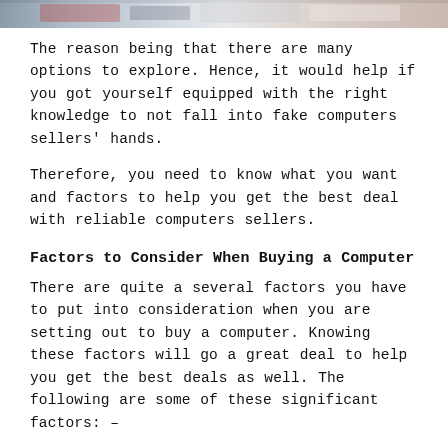[Figure (photo): Partial image of computers/laptops at the top of the page, cropped to show only the bottom strip.]
The reason being that there are many options to explore. Hence, it would help if you got yourself equipped with the right knowledge to not fall into fake computers sellers’ hands.
Therefore, you need to know what you want and factors to help you get the best deal with reliable computers sellers.
Factors to Consider When Buying a Computer
There are quite a several factors you have to put into consideration when you are setting out to buy a computer. Knowing these factors will go a great deal to help you get the best deals as well. The following are some of these significant factors: –
1. Size